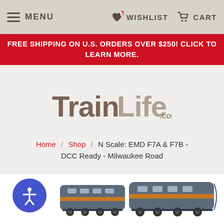MENU   WISHLIST   CART
FREE SHIPPING ON U.S. ORDERS OVER $250! CLICK TO LEARN MORE.
[Figure (logo): TrainLife.com logo in brown/tan stylized lettering]
Home / Shop / N Scale: EMD F7A & F7B - DCC Ready - Milwaukee Road
[Figure (photo): N scale model train (EMD F7A & F7B Milwaukee Road) - grey and orange locomotive set, partially visible at bottom of page]